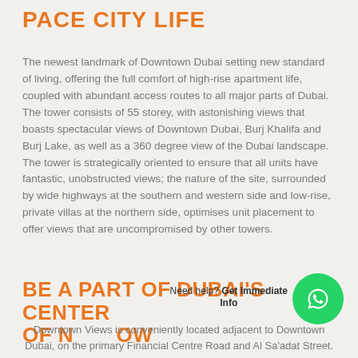PACE CITY LIFE
The newest landmark of Downtown Dubai setting new standard of living, offering the full comfort of high-rise apartment life, coupled with abundant access routes to all major parts of Dubai. The tower consists of 55 storey, with astonishing views that boasts spectacular views of Downtown Dubai, Burj Khalifa and Burj Lake, as well as a 360 degree view of the Dubai landscape. The tower is strategically oriented to ensure that all units have fantastic, unobstructed views; the nature of the site, surrounded by wide highways at the southern and western side and low-rise, private villas at the northern side, optimises unit placement to offer views that are uncompromised by other towers.
BE A PART OF DUBAI'S CENTER OF NOW
Need help? Get Immediate Info
Downtown Views is conveniently located adjacent to Downtown Dubai, on the primary Financial Centre Road and Al Sa'adat Street.